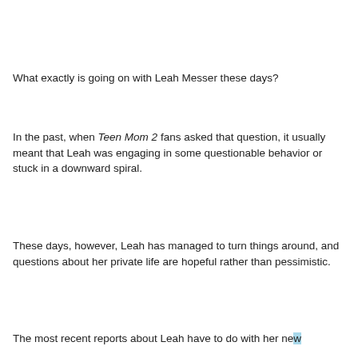What exactly is going on with Leah Messer these days?
In the past, when Teen Mom 2 fans asked that question, it usually meant that Leah was engaging in some questionable behavior or stuck in a downward spiral.
These days, however, Leah has managed to turn things around, and questions about her private life are hopeful rather than pessimistic.
The most recent reports about Leah have to do with her new